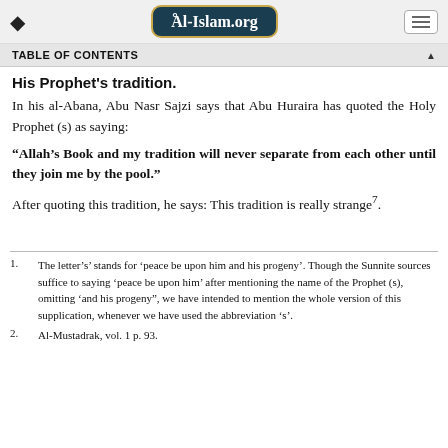Al-Islam.org
TABLE OF CONTENTS
His Prophet's tradition.
In his al-Abana, Abu Nasr Sajzi says that Abu Huraira has quoted the Holy Prophet (s) as saying:
“Allah’s Book and my tradition will never separate from each other until they join me by the pool.”
After quoting this tradition, he says: This tradition is really strange⁷.
1. The letter’s’ stands for ‘peace be upon him and his progeny’. Though the Sunnite sources suffice to saying ‘peace be upon him’ after mentioning the name of the Prophet (s), omitting ‘and his progeny”, we have intended to mention the whole version of this supplication, whenever we have used the abbreviation ‘s’.
2. Al-Mustadrak, vol. 1 p. 93.